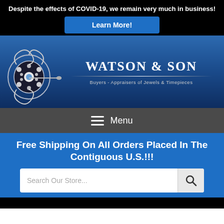Despite the effects of COVID-19, we remain very much in business!
Learn More!
[Figure (logo): Watson & Son jeweler logo featuring a decorative diamond brooch and a pin/bar design on a dark blue gradient background. Text reads 'WATSON & SON' and 'Buyers - Appraisers of Jewels & Timepieces']
Menu
Free Shipping On All Orders Placed In The Contiguous U.S.!!!
Search Our Store...